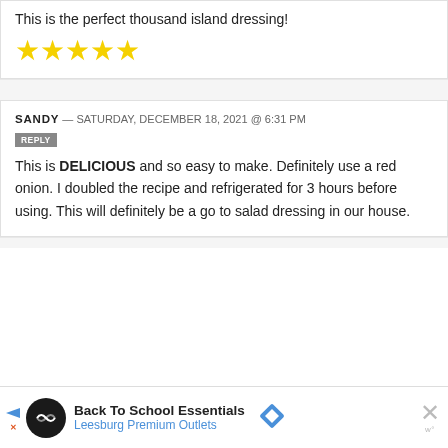This is the perfect thousand island dressing!
[Figure (other): 5 yellow stars rating]
SANDY — SATURDAY, DECEMBER 18, 2021 @ 6:31 PM
REPLY
This is DELICIOUS and so easy to make. Definitely use a red onion. I doubled the recipe and refrigerated for 3 hours before using. This will definitely be a go to salad dressing in our house.
[Figure (other): Advertisement banner: Back To School Essentials - Leesburg Premium Outlets]